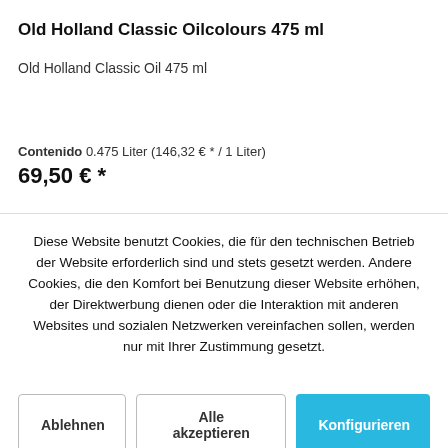Old Holland Classic Oilcolours 475 ml
Old Holland Classic Oil 475 ml
Contenido 0.475 Liter (146,32 € * / 1 Liter)
69,50 € *
Diese Website benutzt Cookies, die für den technischen Betrieb der Website erforderlich sind und stets gesetzt werden. Andere Cookies, die den Komfort bei Benutzung dieser Website erhöhen, der Direktwerbung dienen oder die Interaktion mit anderen Websites und sozialen Netzwerken vereinfachen sollen, werden nur mit Ihrer Zustimmung gesetzt.
Ablehnen
Alle akzeptieren
Konfigurieren